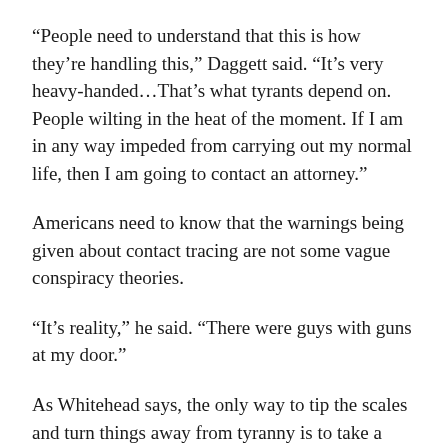“People need to understand that this is how they’re handling this,” Daggett said. “It’s very heavy-handed…That’s what tyrants depend on. People wilting in the heat of the moment. If I am in any way impeded from carrying out my normal life, then I am going to contact an attorney.”
Americans need to know that the warnings being given about contact tracing are not some vague conspiracy theories.
“It’s reality,” he said. “There were guys with guns at my door.”
As Whitehead says, the only way to tip the scales and turn things away from tyranny is to take a stand and refuse to cooperate with the burgeoning army of health spies.